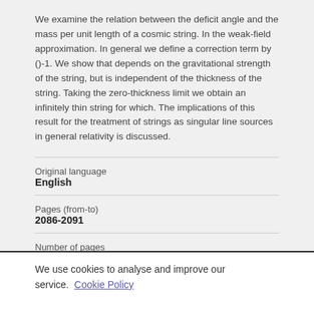We examine the relation between the deficit angle and the mass per unit length of a cosmic string. In the weak-field approximation. In general we define a correction term by ()-1. We show that depends on the gravitational strength of the string, but is independent of the thickness of the string. Taking the zero-thickness limit we obtain an infinitely thin string for which. The implications of this result for the treatment of strings as singular line sources in general relativity is discussed.
| Original language | English |
| Pages (from-to) | 2086-2091 |
| Number of pages | 6 |
We use cookies to analyse and improve our service. Cookie Policy